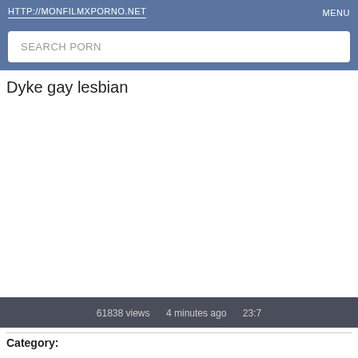HTTP://MONFILMXPORNO.NET   MENU
SEARCH PORN
Dyke gay lesbian
61838 views   4 minutes ago   23:7
Category: